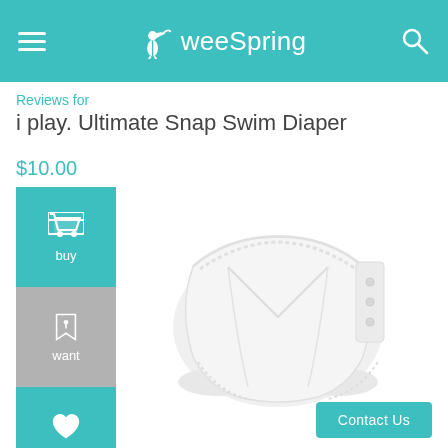weeSpring
Reviews for
i play. Ultimate Snap Swim Diaper
$10.00
[Figure (photo): White snap swim diaper product photo on white background]
buy
want
babylist
Contact Us